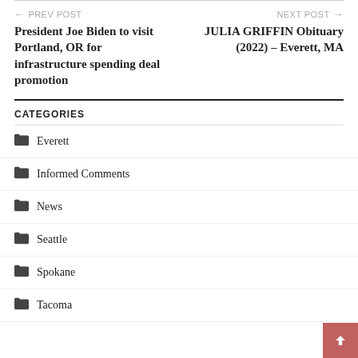← PREV POST
NEXT POST →
President Joe Biden to visit Portland, OR for infrastructure spending deal promotion
JULIA GRIFFIN Obituary (2022) – Everett, MA
CATEGORIES
Everett
Informed Comments
News
Seattle
Spokane
Tacoma